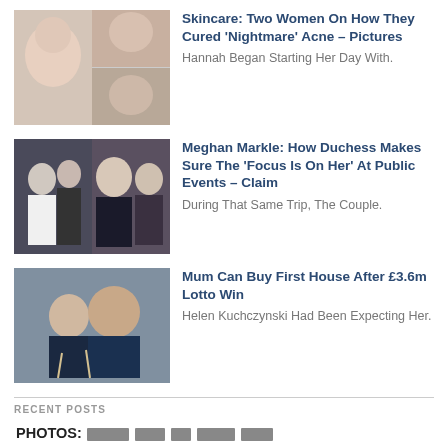[Figure (photo): Collage of women applying skincare products]
Skincare: Two Women On How They Cured ‘Nightmare’ Acne – Pictures
Hannah Began Starting Her Day With.
[Figure (photo): Two photos of Meghan Markle and Prince Harry at public events]
Meghan Markle: How Duchess Makes Sure The ‘Focus Is On Her’ At Public Events – Claim
During That Same Trip, The Couple.
[Figure (photo): Couple kissing and celebrating with champagne glasses]
Mum Can Buy First House After £3.6m Lotto Win
Helen Kuchczynski Had Been Expecting Her.
RECENT POSTS
PHOTOS: [redacted headline text]